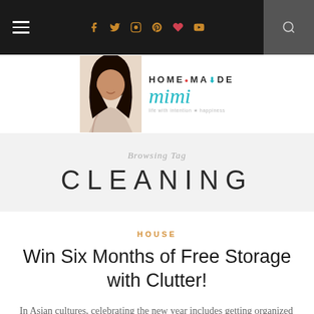Navigation bar with hamburger menu, social icons (Facebook, Twitter, Instagram, Pinterest, Heart/Bloglovin, YouTube), and search icon
[Figure (logo): Home Made Mimi blog logo with woman photo and teal/turquoise text]
Browsing Tag
CLEANING
HOUSE
Win Six Months of Free Storage with Clutter!
In Asian cultures, celebrating the new year includes getting organized and clearing out the